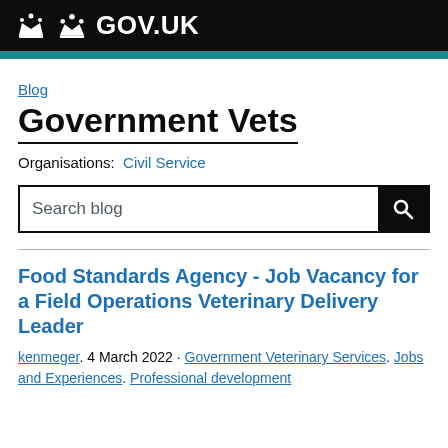GOV.UK
Blog
Government Vets
Organisations: Civil Service
Search blog
Food Standards Agency - Job Vacancy for a Field Operations Veterinary Delivery Leader
kenmeger. 4 March 2022 · Government Veterinary Services. Jobs and Experiences. Professional development